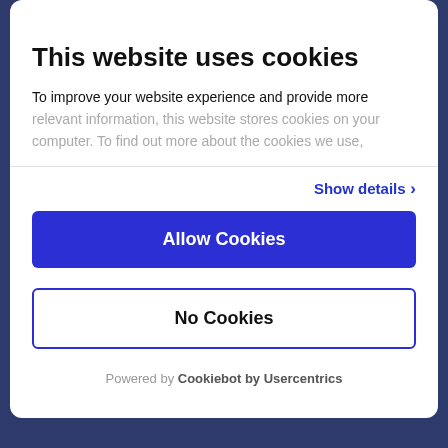This website uses cookies
To improve your website experience and provide more relevant information, this website stores cookies on your computer. To find out more about the cookies we use,
Show details ›
Allow Cookies
No Cookies
Powered by Cookiebot by Usercentrics